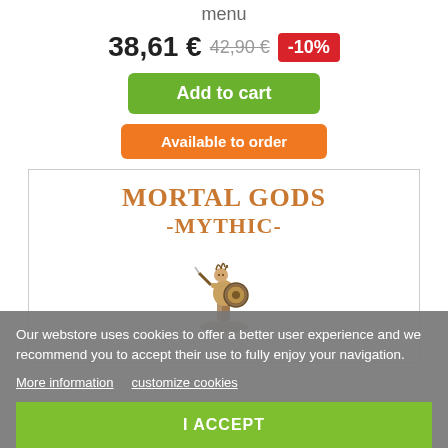menu
38,61 € 42,90 € -10%
Add to cart
Available to order
[Figure (illustration): Mortal Gods Mythic product box showing a warrior figurine with a shield and spear, with the Mortal Gods -Mythic- logo at top in bronze/gold lettering]
Our webstore uses cookies to offer a better user experience and we recommend you to accept their use to fully enjoy your navigation.
More information   customize cookies
I ACCEPT